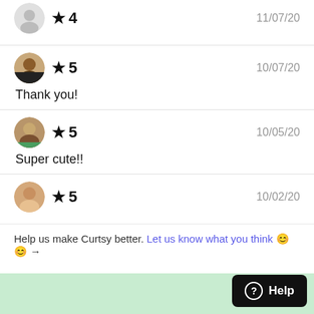★ 4   11/07/20
★ 5   10/07/20
Thank you!
★ 5   10/05/20
Super cute!!
★ 5   10/02/20
Help us make Curtsy better. Let us know what you think 😊😊 →
? Help